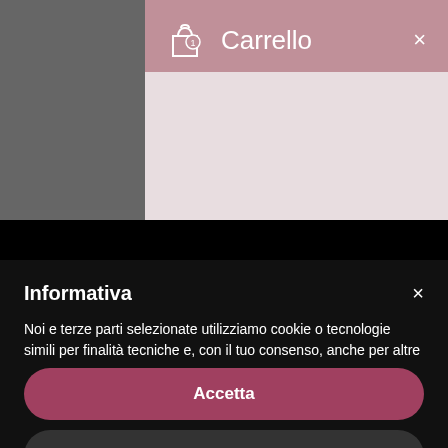[Figure (screenshot): Shopping cart panel header with bag icon showing '1' badge and title 'Carrello' with close X button, on mauve/pink background]
Informativa
Noi e terze parti selezionate utilizziamo cookie o tecnologie simili per finalità tecniche e, con il tuo consenso, anche per altre finalità come specificato nella cookie policy. Il rifiuto del consenso può rendere non disponibili le relative funzioni.
Puoi acconsentire all'utilizzo di tali tecnologie utilizzando il pulsante “Accetta” o chiudendo questa informativa.
Accetta
Scopri di più e personalizza